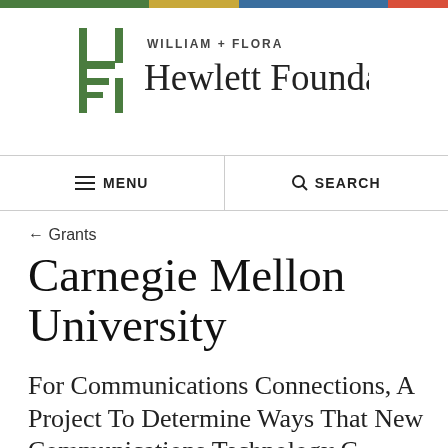[Figure (logo): William + Flora Hewlett Foundation logo with stylized H lettermark in green and the foundation name in dark text]
≡ MENU   🔍 SEARCH
← Grants
Carnegie Mellon University
For Communications Connections, A Project To Determine Ways That New Communications Technology C...